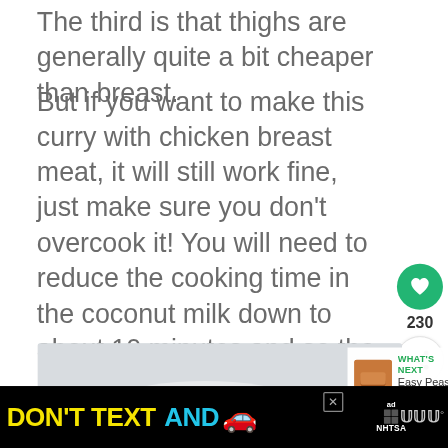The third is that thighs are generally quite a bit cheaper than breast.
But if you want to make this curry with chicken breast meat, it will still work fine, just make sure you don't overcook it! You will need to reduce the cooking time in the coconut milk down to about 10 minutes and so the sauce will be less concentrated.
[Figure (photo): Partial view of a bowl or plate with a light gray/white background, showing a curved rim.]
[Figure (screenshot): What's Next panel showing a thumbnail of food item and text 'Easy Peasy Homemade...']
[Figure (infographic): Advertisement banner: DON'T TEXT AND [car emoji] with NHTSA branding on black background]